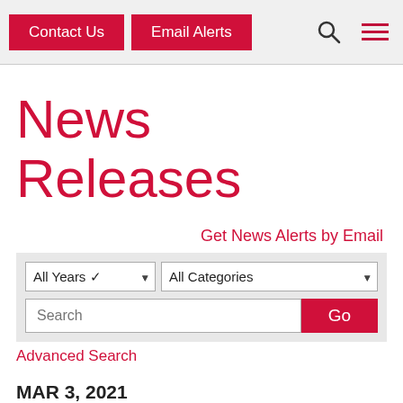Contact Us | Email Alerts
News Releases
Get News Alerts by Email
[Figure (screenshot): Search filter bar with All Years dropdown, All Categories dropdown, Search text input, and Go button]
Advanced Search
MAR 3, 2021